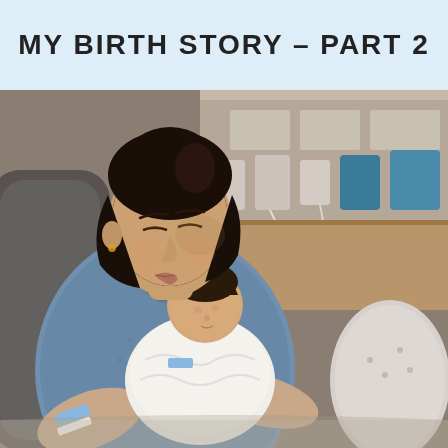MY BIRTH STORY – PART 2
[Figure (photo): A woman with dark hair sitting in a hospital chair, eyes closed, gently kissing/nuzzling a newborn baby wrapped in white. The woman wears a blue patterned hospital gown and has hospital ID wristbands. Medical equipment is visible in the background.]